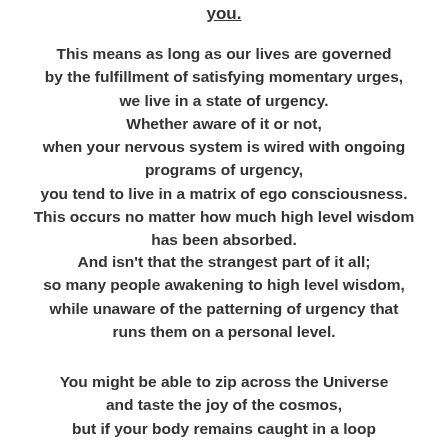you.
This means as long as our lives are governed by the fulfillment of satisfying momentary urges, we live in a state of urgency. Whether aware of it or not, when your nervous system is wired with ongoing programs of urgency, you tend to live in a matrix of ego consciousness. This occurs no matter how much high level wisdom has been absorbed.
And isn't that the strangest part of it all; so many people awakening to high level wisdom, while unaware of the patterning of urgency that runs them on a personal level.
You might be able to zip across the Universe and taste the joy of the cosmos, but if your body remains caught in a loop